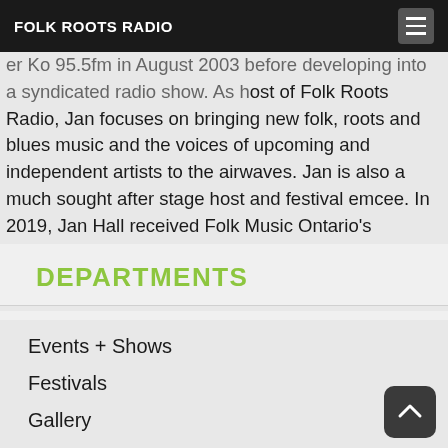FOLK ROOTS RADIO
er Ko 95.5fm in August 2003 before developing into a syndicated radio show. As host of Folk Roots Radio, Jan focuses on bringing new folk, roots and blues music and the voices of upcoming and independent artists to the airwaves. Jan is also a much sought after stage host and festival emcee. In 2019, Jan Hall received Folk Music Ontario's prestigious Estelle Klein Award for her contribution to Ontario's folk music community.
DEPARTMENTS
Events + Shows
Festivals
Gallery
Interviews
Livestreams
News
Quotable Quotes
Radio Episodes